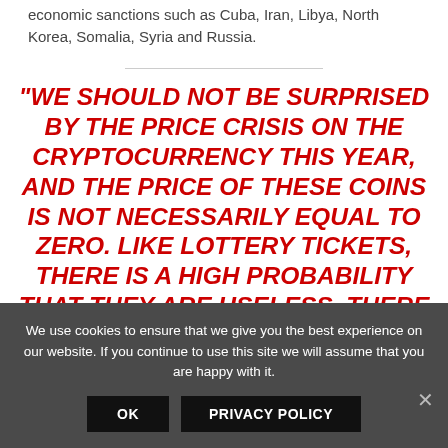economic sanctions such as Cuba, Iran, Libya, North Korea, Somalia, Syria and Russia.
“WE SHOULD NOT BE SURPRISED BY THE PRICE CRISIS ON THE CRYPTOCURRENCY THIS YEAR, AND THE PRICE OF THESE COINS IS NOT NECESSARILY EQUAL TO ZERO. LIKE LOTTERY TICKETS, THERE IS A HIGH PROBABILITY THAT THEY ARE USELESS. THERE IS ALSO VERY
We use cookies to ensure that we give you the best experience on our website. If you continue to use this site we will assume that you are happy with it.